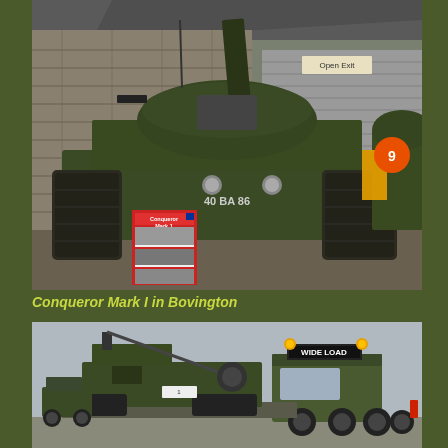[Figure (photo): A Conqueror Mark I heavy tank displayed indoors at Bovington Tank Museum. The tank is painted dark olive green and bears the military number 40 BA 86 on its hull. A red information placard labeled 'Conqueror Mark I' is visible in front of the tank. Another tank is partially visible on the right side. The museum interior shows brick walls and a metal roller shutter door with a 'Open Exit' sign.]
Conqueror Mark I in Bovington
[Figure (photo): An outdoor photograph showing a military vehicle being transported on a low-loader truck. The truck displays a 'WIDE LOAD' sign on its cab roof and has two amber warning lights. The military vehicle being transported appears to be an armoured engineering or recovery vehicle. The background is an overcast grey sky.]